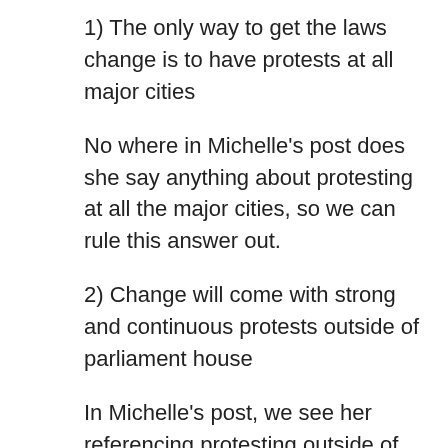1) The only way to get the laws change is to have protests at all major cities
No where in Michelle's post does she say anything about protesting at all the major cities, so we can rule this answer out.
2) Change will come with strong and continuous protests outside of parliament house
In Michelle's post, we see her referencing protesting outside of parliament in two occasions. This looks like the answer.
After a quick scan of possible answers 3) and 4), they both do relate to the MIchelle's post, but they